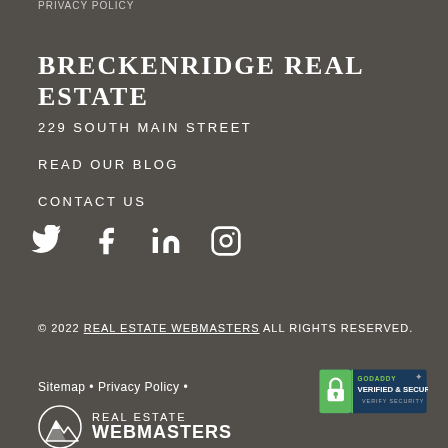PRIVACY POLICY
BRECKENRIDGE REAL ESTATE
229 SOUTH MAIN STREET
READ OUR BLOG
CONTACT US
[Figure (illustration): Social media icons: Twitter, Facebook, LinkedIn, Instagram]
© 2022 REAL ESTATE WEBMASTERS ALL RIGHTS RESERVED.
Sitemap • Privacy Policy •
[Figure (logo): GoDaddy Verified & Secured badge]
[Figure (logo): Real Estate Webmasters logo with mountain icon]